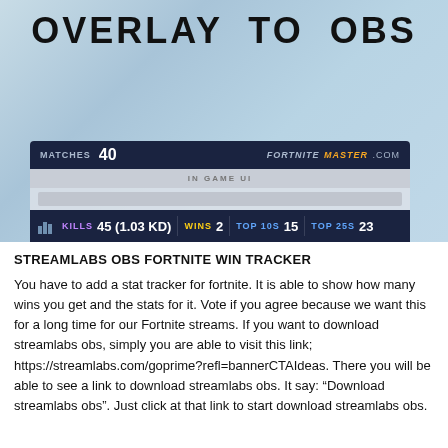[Figure (screenshot): Screenshot of a Fortnite stats overlay showing 'OVERLAY TO OBS' title at top with a gradient blue-gray background, and a stat tracker widget at the bottom showing: MATCHES 40, FORTNITE MASTER .COM branding, IN GAME UI label, KILLS 45 (1.03 KD), WINS 2, TOP 10s 15, TOP 25s 23]
STREAMLABS OBS FORTNITE WIN TRACKER
You have to add a stat tracker for fortnite. It is able to show how many wins you get and the stats for it. Vote if you agree because we want this for a long time for our Fortnite streams. If you want to download streamlabs obs, simply you are able to visit this link; https://streamlabs.com/goprime?refl=bannerCTAIdeas. There you will be able to see a link to download streamlabs obs. It say: “Download streamlabs obs”. Just click at that link to start download streamlabs obs.